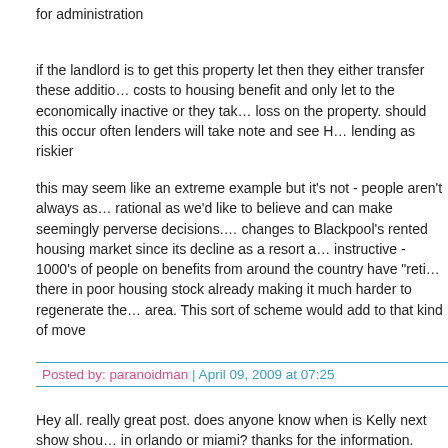for administration
if the landlord is to get this property let then they either transfer these additional costs to housing benefit and only let to the economically inactive or they take a loss on the property. should this occur often lenders will take note and see HB lending as riskier
this may seem like an extreme example but it's not - people aren't always as rational as we'd like to believe and can make seemingly perverse decisions. The changes to Blackpool's rented housing market since its decline as a resort are instructive - 1000's of people on benefits from around the country have "retired" there in poor housing stock already making it much harder to regenerate the area. This sort of scheme would add to that kind of move
Posted by: paranoidman | April 09, 2009 at 07:25
Hey all. really great post. does anyone know when is Kelly next show should be in orlando or miami? thanks for the information.
Posted by: Leeds Hotels | May 13, 2010 at 06:56
The comments to this entry are closed.